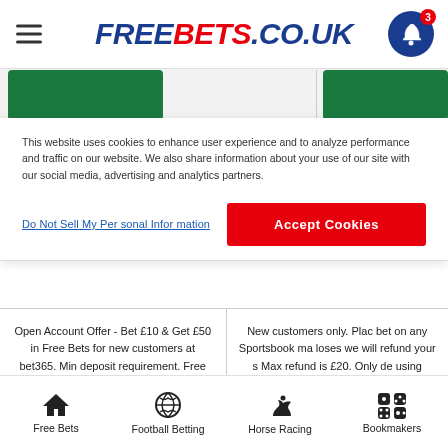FREEBETS.CO.UK
[Figure (screenshot): Green promotional card banners partially visible]
This website uses cookies to enhance user experience and to analyze performance and traffic on our website. We also share information about your use of our site with our social media, advertising and analytics partners.
Do Not Sell My Personal Information
Accept Cookies
Open Account Offer - Bet £10 & Get £50 in Free Bets for new customers at bet365. Min deposit requirement. Free Bets are paid as Bet Credits and are available for use upon settlement of bets to the value of the qualifying deposit. Min odds, bet and payment method exclusions apply. Returns exclude Bet Credits stake. Time limits and T&Cs apply.
New customers only. Plac bet on any Sportsbook ma loses we will refund your s Max refund is £20. Only de using Cards will qualify. £5 free bet will be available t the promotions hub after t bet has been settled & wil 7 days. T&Cs apply. Plea responsibly.
Free Bets | Football Betting | Horse Racing | Bookmakers